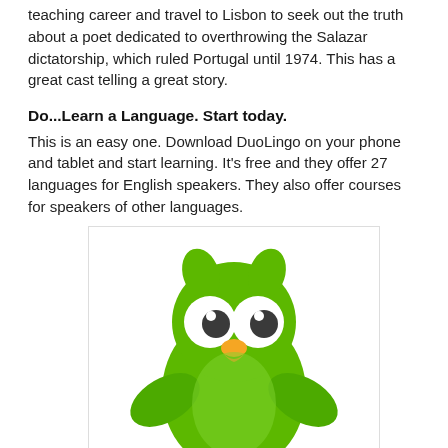teaching career and travel to Lisbon to seek out the truth about a poet dedicated to overthrowing the Salazar dictatorship, which ruled Portugal until 1974. This has a great cast telling a great story.
Do...Learn a Language. Start today.
This is an easy one. Download DuoLingo on your phone and tablet and start learning. It's free and they offer 27 languages for English speakers. They also offer courses for speakers of other languages.
[Figure (illustration): Duolingo mascot: a green cartoon owl with large white eyes with dark pupils, an orange beak, green wings spread outward, set against a white background inside a bordered box.]